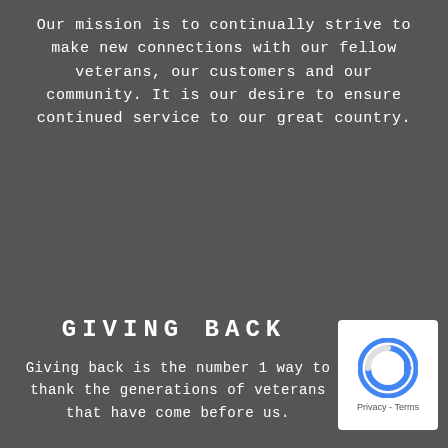Our mission is to continually strive to make new connections with our fellow veterans, our customers and our community. It is our desire to ensure continued service to our great country.
GIVING BACK
Giving back is the number 1 way to thank the generations of veterans that have come before us.